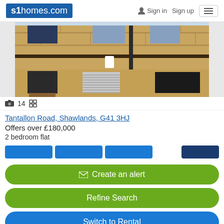s1homes.com  Sign in  Sign up
[Figure (photo): Exterior of a sandstone tenement building showing stone facade with windows and a drainpipe]
📷 14 ⊞
Tantallon Road, Shawlands, G41 3HJ
Offers over £180,000
2 bedroom flat
✉ Create an alert
Refine Search
Switch to Rental